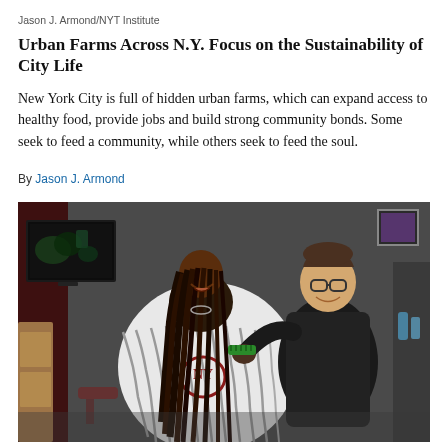Jason J. Armond/NYT Institute
Urban Farms Across N.Y. Focus on the Sustainability of City Life
New York City is full of hidden urban farms, which can expand access to healthy food, provide jobs and build strong community bonds. Some seek to feed a community, while others seek to feed the soul.
By Jason J. Armond
[Figure (photo): A woman sitting in a barber/salon chair smiling, wearing a black and white striped salon cape, while a person in a dark apron styles her hair with a green comb. The setting is an indoor barbershop/salon with a TV screen visible on the left and shelving with products on the right. The photo is credited to Jason J. Armond/NYT Institute.]